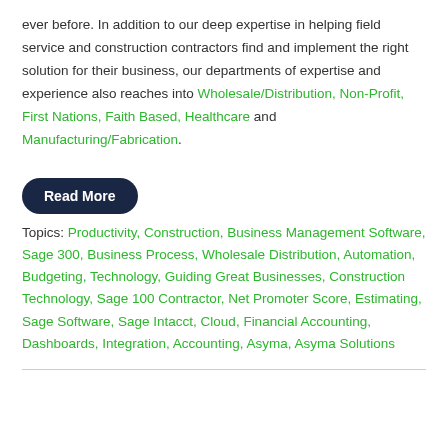ever before. In addition to our deep expertise in helping field service and construction contractors find and implement the right solution for their business, our departments of expertise and experience also reaches into Wholesale/Distribution, Non-Profit, First Nations, Faith Based, Healthcare and Manufacturing/Fabrication.
[Figure (other): Dark navy blue rounded rectangle button labeled 'Read More' in white bold text]
Topics: Productivity, Construction, Business Management Software, Sage 300, Business Process, Wholesale Distribution, Automation, Budgeting, Technology, Guiding Great Businesses, Construction Technology, Sage 100 Contractor, Net Promoter Score, Estimating, Sage Software, Sage Intacct, Cloud, Financial Accounting, Dashboards, Integration, Accounting, Asyma, Asyma Solutions